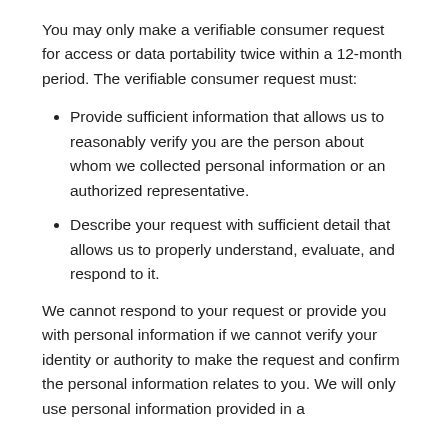You may only make a verifiable consumer request for access or data portability twice within a 12-month period. The verifiable consumer request must:
Provide sufficient information that allows us to reasonably verify you are the person about whom we collected personal information or an authorized representative.
Describe your request with sufficient detail that allows us to properly understand, evaluate, and respond to it.
We cannot respond to your request or provide you with personal information if we cannot verify your identity or authority to make the request and confirm the personal information relates to you. We will only use personal information provided in a